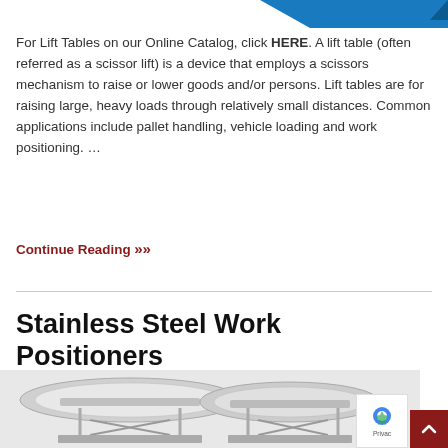[Figure (other): Partial blue decorative image at top of page, cropped]
For Lift Tables on our Online Catalog, click HERE. A lift table (often referred as a scissor lift) is a device that employs a scissors mechanism to raise or lower goods and/or persons. Lift tables are for raising large, heavy loads through relatively small distances. Common applications include pallet handling, vehicle loading and work positioning. …
Continue Reading »
Stainless Steel Work Positioners
[Figure (photo): Photo of stainless steel work positioner / scissor lift table with round platform, partially visible]